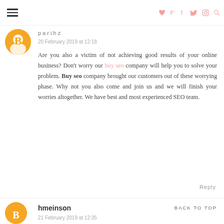parihz | social icons: heart, pinterest, facebook, twitter, instagram, search
parihz
20 February 2019 at 12:18
Are you also a victim of not achieving good results of your online business? Don't worry our buy seo company will help you to solve your problem. Buy seo company brought our customers out of these worrying phase. Why not you also come and join us and we will finish your worries altogether. We have best and most experienced SEO team.
Reply
hmeinson
BACK TO TOP
21 February 2019 at 12:35